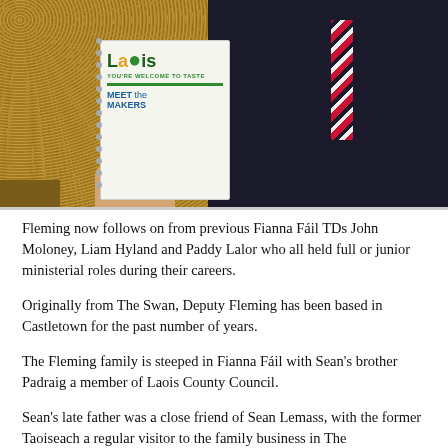[Figure (photo): Two people standing together. Person on left wearing leopard print top and holding a Laois 'You're Welcome to Taste – Meet the Makers' brochure/booklet with spiral binding. Person on right wearing a dark pinstripe suit with a pink and white striped tie.]
Fleming now follows on from previous Fianna Fáil TDs John Moloney, Liam Hyland and Paddy Lalor who all held full or junior ministerial roles during their careers.
Originally from The Swan, Deputy Fleming has been based in Castletown for the past number of years.
The Fleming family is steeped in Fianna Fáil with Sean's brother Padraig a member of Laois County Council.
Sean's late father was a close friend of Sean Lemass, with the former Taoiseach a regular visitor to the family business in The